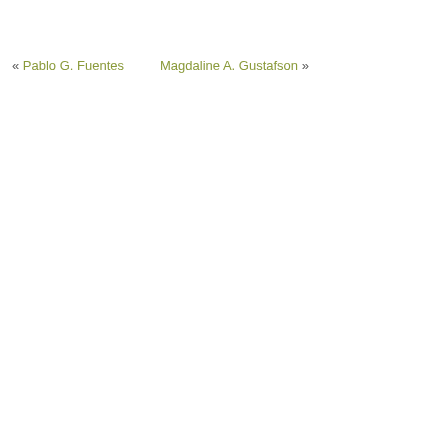« Pablo G. Fuentes      Magdaline A. Gustafson »